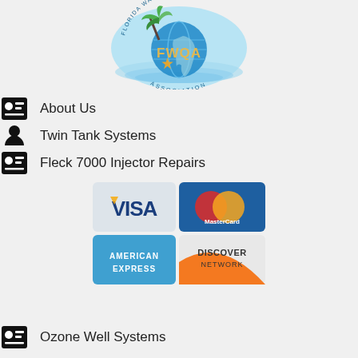[Figure (logo): FWQA Florida Water Quality Association circular logo with palm tree, globe, starfish, and water ripples]
About Us
Twin Tank Systems
Fleck 7000 Injector Repairs
[Figure (infographic): Payment method logos: Visa, MasterCard, American Express, Discover Network arranged in a 2x2 grid]
Ozone Well Systems